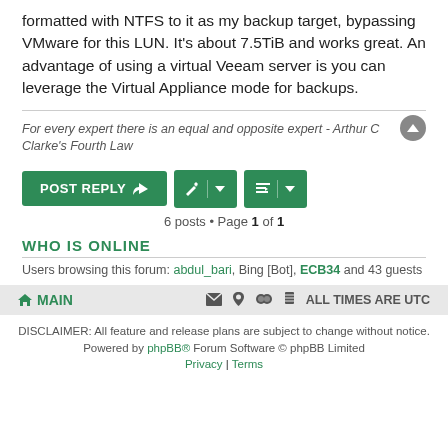formatted with NTFS to it as my backup target, bypassing VMware for this LUN. It's about 7.5TiB and works great. An advantage of using a virtual Veeam server is you can leverage the Virtual Appliance mode for backups.
For every expert there is an equal and opposite expert - Arthur C Clarke's Fourth Law
6 posts • Page 1 of 1
WHO IS ONLINE
Users browsing this forum: abdul_bari, Bing [Bot], ECB34 and 43 guests
MAIN | ALL TIMES ARE UTC
DISCLAIMER: All feature and release plans are subject to change without notice.
Powered by phpBB® Forum Software © phpBB Limited
Privacy | Terms